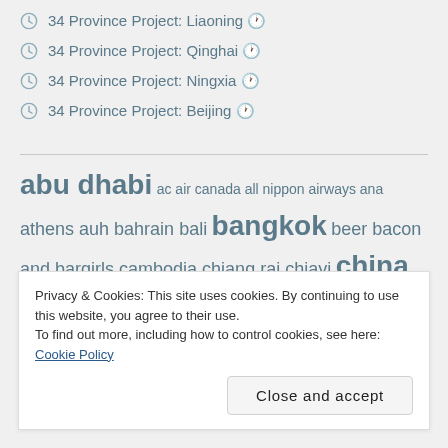34 Province Project: Liaoning 🕐
34 Province Project: Qinghai 🕐
34 Province Project: Ningxia 🕐
34 Province Project: Beijing 🕐
abu dhabi ac air canada all nippon airways ana athens auh bahrain bali bangkok beer bacon and bargirls cambodia chiang rai chiayi china
Privacy & Cookies: This site uses cookies. By continuing to use this website, you agree to their use.
To find out more, including how to control cookies, see here: Cookie Policy
Close and accept